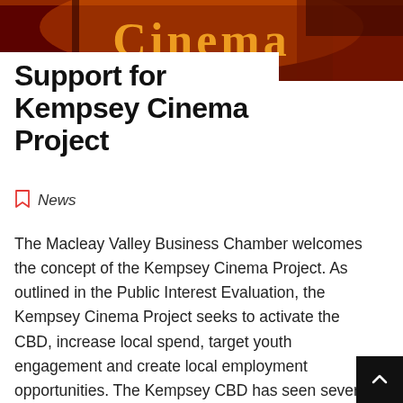[Figure (photo): Cinema sign banner image with orange and red tones, showing the word 'cinema' in decorative lettering]
Support for Kempsey Cinema Project
News
The Macleay Valley Business Chamber welcomes the concept of the Kempsey Cinema Project. As outlined in the Public Interest Evaluation, the Kempsey Cinema Project seeks to activate the CBD, increase local spend, target youth engagement and create local employment opportunities. The Kempsey CBD has seen several improvements since the Highway by-pass. There is more to be done to activate the town centre and encourage both local and visitor spend while also enhancing the social